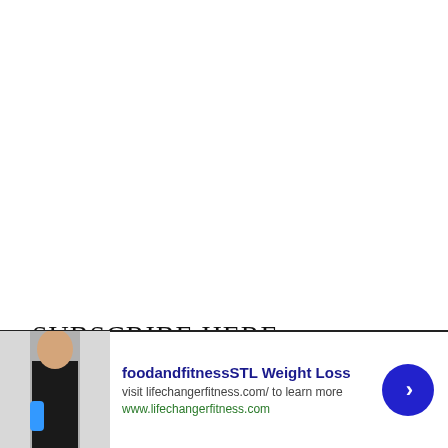SUBSCRIBE HERE
[Figure (infographic): Web advertisement banner with photo of a woman in fitness attire holding a blue water bottle, text reading 'foodandfitnessSTL Weight Loss', subtext 'visit lifechangerfitness.com/ to learn more', URL 'www.lifechangerfitness.com', a blue circular next button with a right arrow, and a gray close button.]